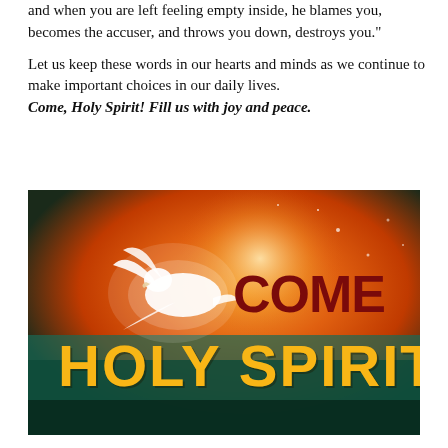and when you are left feeling empty inside, he blames you, becomes the accuser, and throws you down, destroys you." Let us keep these words in our hearts and minds as we continue to make important choices in our daily lives. Come, Holy Spirit! Fill us with joy and peace.
[Figure (illustration): Inspirational image with a white dove flying against a glowing orange and teal background, with the text 'COME HOLY SPIRIT' displayed prominently — 'COME' in dark red/maroon and 'HOLY SPIRIT' in golden yellow.]